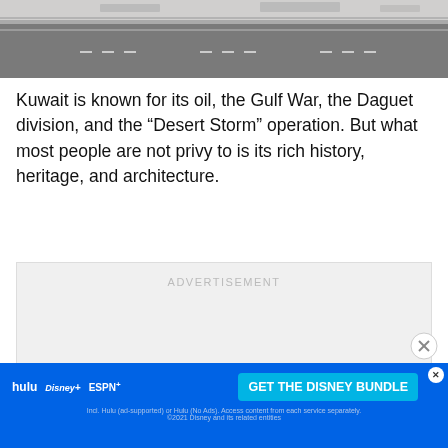[Figure (photo): Top portion of a black and white photo showing a road/highway surface with lane markings and barriers]
Kuwait is known for its oil, the Gulf War, the Daguet division, and the “Desert Storm” operation. But what most people are not privy to is its rich history, heritage, and architecture.
[Figure (other): Advertisement placeholder box with ADVERTISEMENT label and a close (X) button]
[Figure (other): Disney Bundle advertisement banner with Hulu, Disney+, ESPN+ logos and GET THE DISNEY BUNDLE call to action]